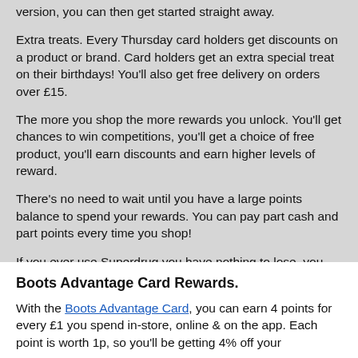version, you can then get started straight away.
Extra treats. Every Thursday card holders get discounts on a product or brand. Card holders get an extra special treat on their birthdays! You'll also get free delivery on orders over £15.
The more you shop the more rewards you unlock. You'll get chances to win competitions, you'll get a choice of free product, you'll earn discounts and earn higher levels of reward.
There's no need to wait until you have a large points balance to spend your rewards. You can pay part cash and part points every time you shop!
If you ever use Superdrug you have nothing to lose, you should sign up to save money.
Boots Advantage Card Rewards.
With the Boots Advantage Card, you can earn 4 points for every £1 you spend in-store, online & on the app. Each point is worth 1p, so you'll be getting 4% off your